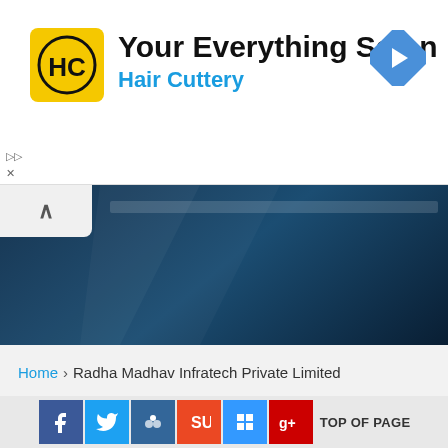[Figure (logo): Hair Cuttery advertisement banner with HC logo on yellow background, tagline 'Your Everything Salon' and brand name 'Hair Cuttery', with a blue navigation arrow icon on the right]
[Figure (screenshot): Dark navy blue website header band with a white tab containing an up-arrow (^) on the top left]
Home › Radha Madhav Infratech Private Limited
[Figure (infographic): Social media share buttons: Facebook (blue), Twitter (blue), MySpace/Chikk (blue), StumbleUpon (orange), Delicious (blue), Google Plus (red), followed by TOP OF PAGE text]